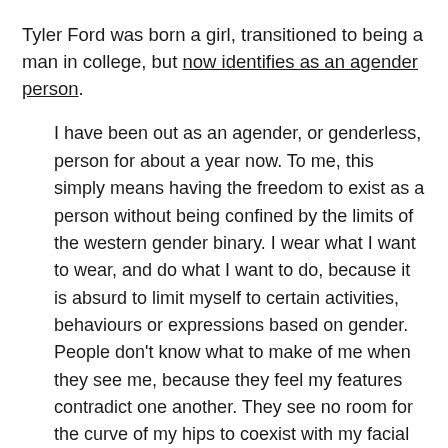Tyler Ford was born a girl, transitioned to being a man in college, but now identifies as an agender person.
I have been out as an agender, or genderless, person for about a year now. To me, this simply means having the freedom to exist as a person without being confined by the limits of the western gender binary. I wear what I want to wear, and do what I want to do, because it is absurd to limit myself to certain activities, behaviours or expressions based on gender. People don't know what to make of me when they see me, because they feel my features contradict one another. They see no room for the curve of my hips to coexist with my facial hair; they desperately want me to be someone they can easily categorise. My existence causes people to question everything they have